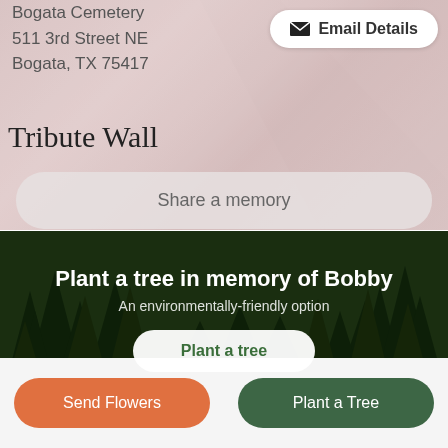Bogata Cemetery
511 3rd Street NE
Bogata, TX 75417
✉ Email Details
Tribute Wall
Share a memory
Plant a tree in memory of Bobby
An environmentally-friendly option
Plant a tree
Send Flowers
Plant a Tree